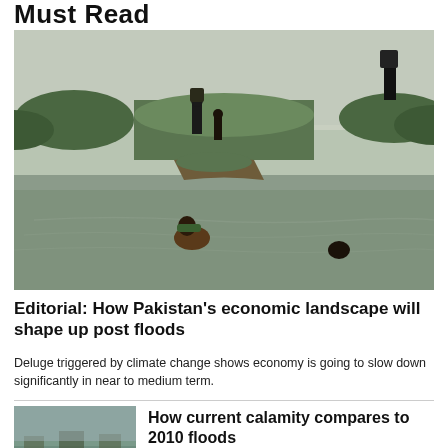Must Read
[Figure (photo): People wading through floodwaters in Pakistan, carrying vegetation. Flooded fields and murky brown water visible. Several figures visible at different distances.]
Editorial: How Pakistan's economic landscape will shape up post floods
Deluge triggered by climate change shows economy is going to slow down significantly in near to medium term.
[Figure (photo): Aerial or elevated view of flooded area with boats and structures partially submerged.]
How current calamity compares to 2010 floods